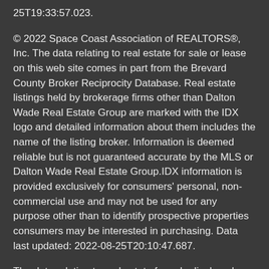25T19:33:57.023.
© 2022 Space Coast Association of REALTORS®, Inc. The data relating to real estate for sale or lease on this web site comes in part from the Brevard County Broker Reciprocity Database. Real estate listings held by brokerage firms other than Dalton Wade Real Estate Group are marked with the IDX logo and detailed information about them includes the name of the listing broker. Information is deemed reliable but is not guaranteed accurate by the MLS or Dalton Wade Real Estate Group.IDX information is provided exclusively for consumers' personal, non-commercial use and may not be used for any purpose other than to identify prospective properties consumers may be interested in purchasing. Data last updated: 2022-08-25T20:10:47.687.
The data relating to real estate for sale displayed on this Website comes in part from the Multiple Listing Service of the Bonita Springs-Estero Association of REALTORS®, Inc., under License No. 3035763. Properties displayed on this Website include properties listed with brokerage firms other than Dalton Wade Real Estate Group. Detailed information about such properties includes the name of the brokerage firm with which the seller has listed the property.